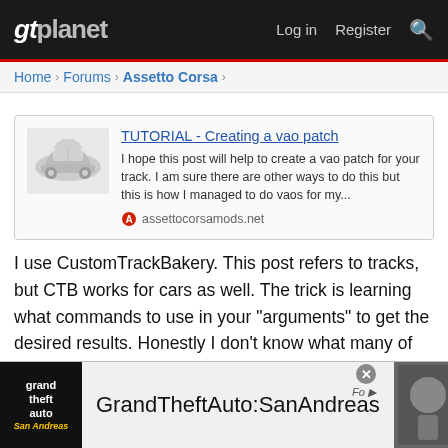gtplanet  Log in  Register
Home > Forums > Assetto Corsa >
TUTORIAL - Creating a vao patch
I hope this post will help to create a vao patch for your track. I am sure there are other ways to do this but this is how I managed to do vaos for my...
assettocorsamods.net
I use CustomTrackBakery. This post refers to tracks, but CTB works for cars as well. The trick is learning what commands to use in your "arguments" to get the desired results. Honestly I don't know what many of these do but through a lot of trial and experimentation found my own "recipe". After baking in the shadows, you'll have to find where things went wrong and make adjustments. In doing the cars it
[Figure (screenshot): Advertisement banner for GrandTheftAuto:SanAndreas game]